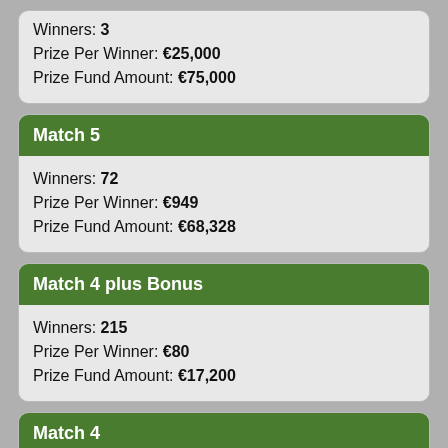Winners: 3
Prize Per Winner: €25,000
Prize Fund Amount: €75,000
Match 5
Winners: 72
Prize Per Winner: €949
Prize Fund Amount: €68,328
Match 4 plus Bonus
Winners: 215
Prize Per Winner: €80
Prize Fund Amount: €17,200
Match 4
Winners: 2,810
Prize Per Winner: €38